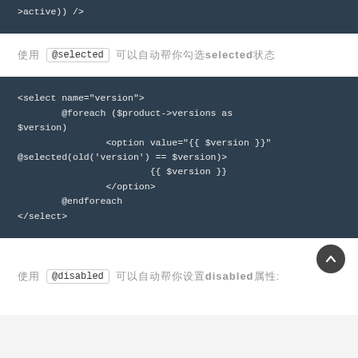>active)) />
使用 @selected 可以自动帮你勾选selected状态
<select name="version">
    @foreach ($product->versions as $version)
            <option value="{{ $version }}" @selected(old('version') == $version)>
                    {{ $version }}
            </option>
    @endforeach
</select>
使用 @disabled 可以自动帮你设置disabled属性: